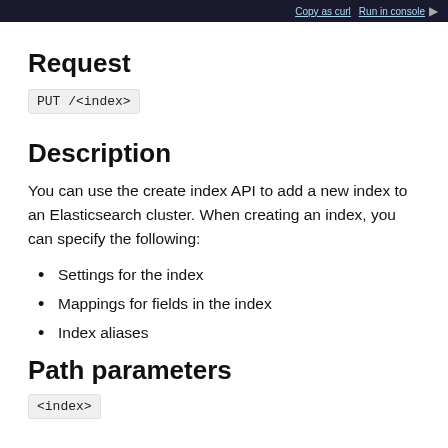Copy as curl  Run in console
Request
PUT /<index>
Description
You can use the create index API to add a new index to an Elasticsearch cluster. When creating an index, you can specify the following:
Settings for the index
Mappings for fields in the index
Index aliases
Path parameters
<index>